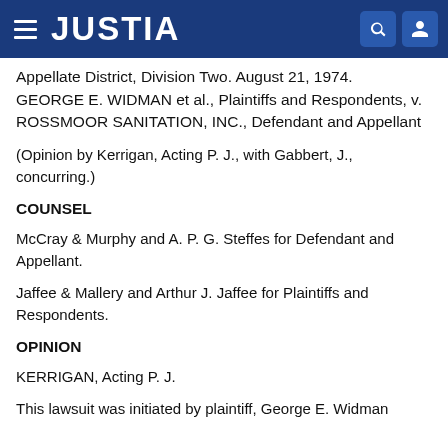JUSTIA
Appellate District, Division Two. August 21, 1974. GEORGE E. WIDMAN et al., Plaintiffs and Respondents, v. ROSSMOOR SANITATION, INC., Defendant and Appellant
(Opinion by Kerrigan, Acting P. J., with Gabbert, J., concurring.)
COUNSEL
McCray & Murphy and A. P. G. Steffes for Defendant and Appellant.
Jaffee & Mallery and Arthur J. Jaffee for Plaintiffs and Respondents.
OPINION
KERRIGAN, Acting P. J.
This lawsuit was initiated by plaintiff, George E. Widman